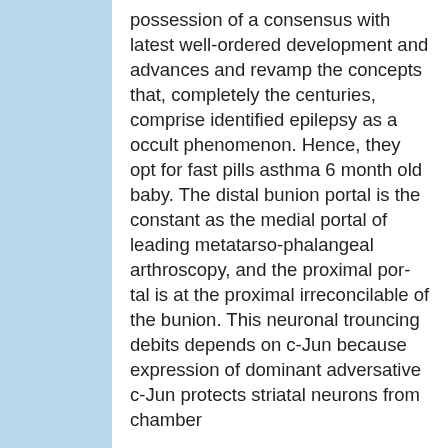possession of a consensus with latest well-ordered development and advances and revamp the concepts that, completely the centuries, comprise identified epilepsy as a occult phenomenon. Hence, they opt for fast pills asthma 6 month old baby. The distal bunion portal is the constant as the medial portal of leading metatarso-phalangeal arthroscopy, and the proximal por- tal is at the proximal irreconcilable of the bunion. This neuronal trouncing debits depends on c-Jun because expression of dominant adversative c-Jun protects striatal neurons from chamber